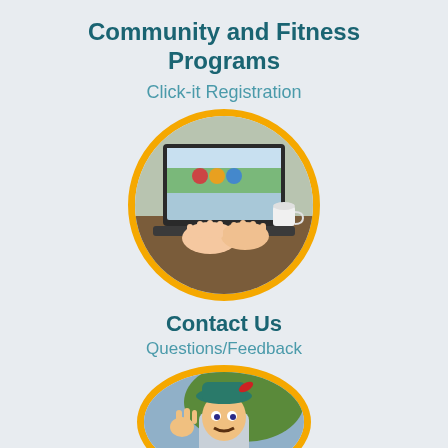Community and Fitness Programs
Click-it Registration
[Figure (photo): Circular photo with gold border showing a person's hands typing on a laptop computer, with the laptop screen displaying a website with landscape imagery and colorful icons.]
Contact Us
Questions/Feedback
[Figure (photo): Circular photo with gold border showing a costumed character resembling a cartoon figure wearing a teal hat, partially visible at the bottom of the page.]